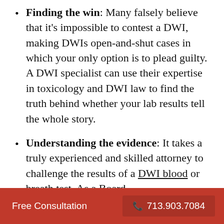Finding the win: Many falsely believe that it's impossible to contest a DWI, making DWIs open-and-shut cases in which your only option is to plead guilty. A DWI specialist can use their expertise in toxicology and DWI law to find the truth behind whether your lab results tell the whole story.
Understanding the evidence: It takes a truly experienced and skilled attorney to challenge the results of a DWI blood or breath test. As a Board Certified DWI specialist and...
Free Consultation   713.903.7084